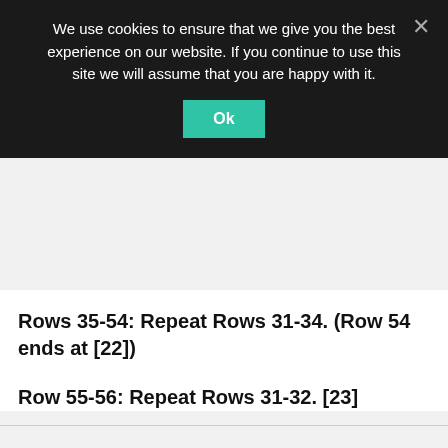We use cookies to ensure that we give you the best experience on our website. If you continue to use this site we will assume that you are happy with it.
Rows 35-54: Repeat Rows 31-34. (Row 54 ends at [22])
Row 55-56: Repeat Rows 31-32. [23]